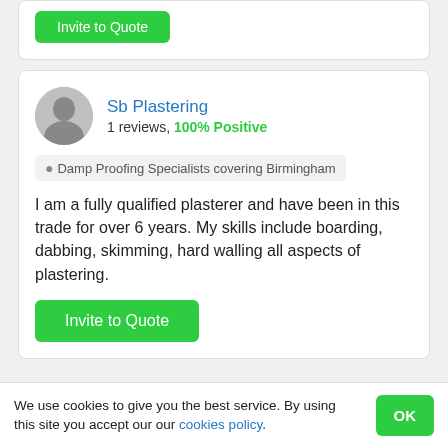[Figure (other): Green Invite to Quote button at top of page (partially visible card)]
Sb Plastering
1 reviews, 100% Positive
Damp Proofing Specialists covering Birmingham
I am a fully qualified plasterer and have been in this trade for over 6 years. My skills include boarding, dabbing, skimming, hard walling all aspects of plastering.
Invite to Quote
We use cookies to give you the best service. By using this site you accept our our cookies policy.